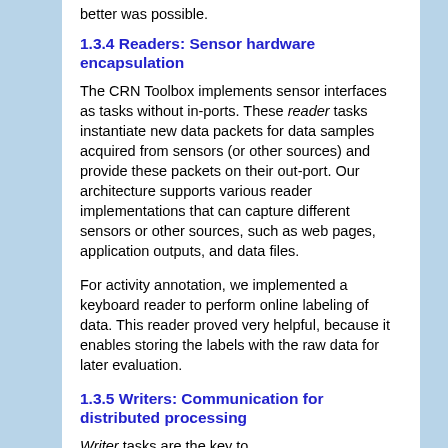better was possible.
1.3.4 Readers: Sensor hardware encapsulation
The CRN Toolbox implements sensor interfaces as tasks without in-ports. These reader tasks instantiate new data packets for data samples acquired from sensors (or other sources) and provide these packets on their out-port. Our architecture supports various reader implementations that can capture different sensors or other sources, such as web pages, application outputs, and data files.
For activity annotation, we implemented a keyboard reader to perform online labeling of data. This reader proved very helpful, because it enables storing the labels with the raw data for later evaluation.
1.3.5 Writers: Communication for distributed processing
Writer tasks are the key to